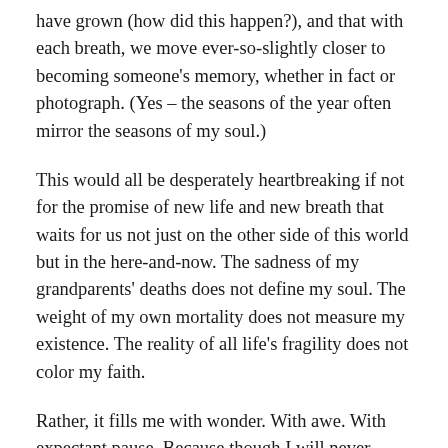have grown (how did this happen?), and that with each breath, we move ever-so-slightly closer to becoming someone's memory, whether in fact or photograph. (Yes – the seasons of the year often mirror the seasons of my soul.)
This would all be desperately heartbreaking if not for the promise of new life and new breath that waits for us not just on the other side of this world but in the here-and-now. The sadness of my grandparents' deaths does not define my soul. The weight of my own mortality does not measure my existence. The reality of all life's fragility does not color my faith.
Rather, it fills me with wonder. With awe. With expectant pause. Because though I will never really know the